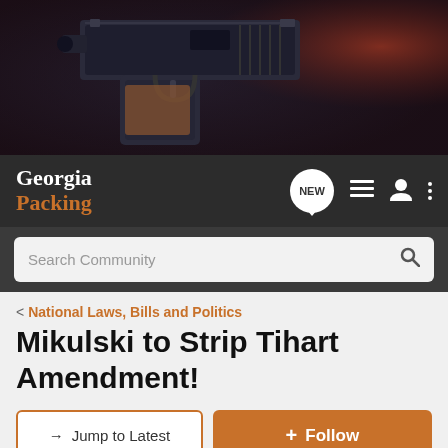[Figure (photo): Close-up photo of a dark pistol handgun against a dark background with reddish/brown grip visible]
Georgia Packing
Search Community
National Laws, Bills and Politics
Mikulski to Strip Tihart Amendment!
→ Jump to Latest
+ Follow
1 - 8 of 8 Posts
Malum Prohibitum · Super Moderator 🇺🇸
Joined Feb 23, 2005 · 73,038 Posts